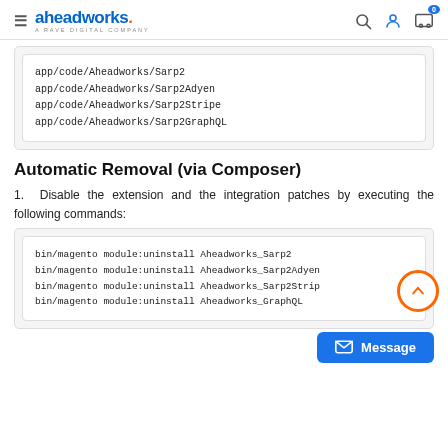aheadworks. A RAVE DIGITAL COMPANY
app/code/Aheadworks/Sarp2
app/code/Aheadworks/Sarp2Adyen
app/code/Aheadworks/Sarp2Stripe
app/code/Aheadworks/Sarp2GraphQL
Automatic Removal (via Composer)
1. Disable the extension and the integration patches by executing the following commands:
bin/magento module:uninstall Aheadworks_Sarp2
bin/magento module:uninstall Aheadworks_Sarp2Adyen
bin/magento module:uninstall Aheadworks_Sarp2Stripe
bin/magento module:uninstall Aheadworks_GraphQL